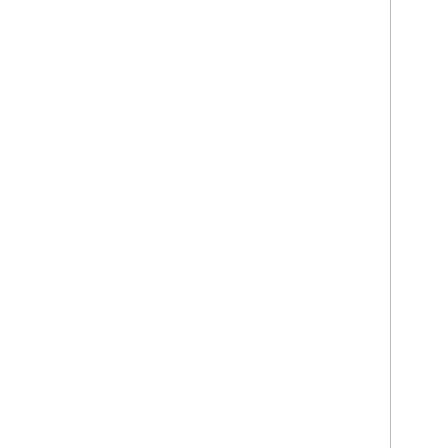[RFC2710]   Deering, S., Fenner, B., and B. Haberman, "Multicast Listener Discovery (MLD) for IPv6", RFC 2710, DOI 10.17487/RFC2710, October 1999, <http://www.rfc-editor.org/info/rfc2710>.
[RFC2736]   Handley, M. and V. Jacobson, "Guidelines for Writers of RTP Payload Format Specifications", BCP 36, RFC 2736, DOI 10.17487/RFC2736, December 1999, <http://www.rfc-editor.org/info/rfc2736>.
[RFC3168]   Ramakrishnan, K., Floyd, S., and D. Black, "The Addition of Explicit Congestion Notification (ECN) to IP", RFC 3168, DOI 10.17487/RFC3168, September 2001, <http://www.rfc-editor.org/info/rfc3168>.
[RFC3205]   Moore, K., "On the use of HTTP as a Substrate", BCP 56, RFC 3205, DOI 10.17487/RFC3205, February 2002, <http://www.rfc-editor.org/info/rfc3205>.
[RFC3260]   Grossman, D., "New Terminology and Clarifications for Diffserv", RFC 3260...